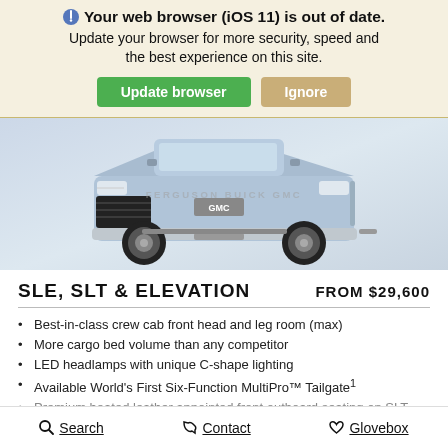Your web browser (iOS 11) is out of date. Update your browser for more security, speed and the best experience on this site.
[Figure (screenshot): Browser update warning banner with 'Update browser' green button and 'Ignore' tan button]
[Figure (photo): Front view of a silver/blue GMC Sierra pickup truck on a light blue-grey background, with FERGUSON BUICK GMC watermark]
SLE, SLT & ELEVATION    FROM $29,600
Best-in-class crew cab front head and leg room (max)
More cargo bed volume than any competitor
LED headlamps with unique C-shape lighting
Available World's First Six-Function MultiPro™ Tailgate¹
Premium heated leather appointed front outboard seating on SLT
Search   Contact   Glovebox